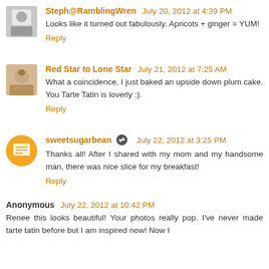Steph@RamblingWren July 20, 2012 at 4:39 PM
Looks like it turned out fabulously. Apricots + ginger = YUM!
Reply
Red Star to Lone Star July 21, 2012 at 7:25 AM
What a coincidence, I just baked an upside down plum cake. You Tarte Tatin is loverly :).
Reply
sweetsugarbean July 22, 2012 at 3:25 PM
Thanks all! After I shared with my mom and my handsome man, there was nice slice for my breakfast!
Reply
Anonymous July 22, 2012 at 10:42 PM
Renee this looks beautiful! Your photos really pop. I've never made tarte tatin before but I am inspired now! Now I